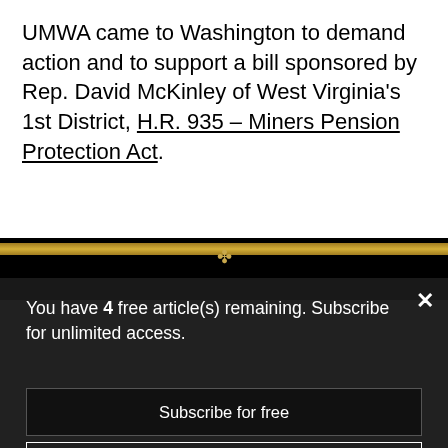UMWA came to Washington to demand action and to support a bill sponsored by Rep. David McKinley of West Virginia's 1st District, H.R. 935 – Miners Pension Protection Act.
[Figure (photo): Dark image strip with gold horizontal band and decorative symbol, partially visible behind modal overlay]
You have 4 free article(s) remaining. Subscribe for unlimited access.
Subscribe for free
Sign In